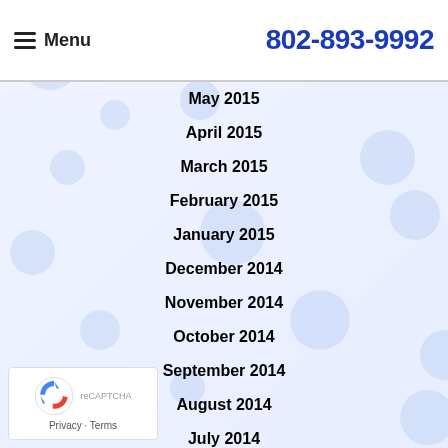Menu   802-893-9992
June 2015
May 2015
April 2015
March 2015
February 2015
January 2015
December 2014
November 2014
October 2014
September 2014
August 2014
July 2014
June 2014